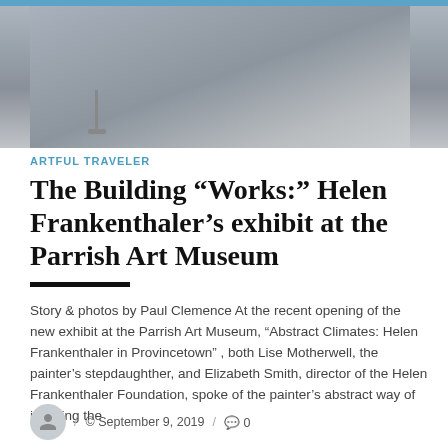[Figure (photo): Interior photo of a gallery/museum space with concrete floor and a sculpture stand visible, light gray tones]
ARTFUL TRAVELER
The Building “Works:” Helen Frankenthaler’s exhibit at the Parrish Art Museum
Story & photos by Paul Clemence At the recent opening of the new exhibit at the Parrish Art Museum, “Abstract Climates: Helen Frankenthaler in Provincetown” , both Lise Motherwell, the painter’s stepdaughther, and Elizabeth Smith, director of the Helen Frankenthaler Foundation, spoke of the painter’s abstract way of invoking the
/ © September 9, 2019 / 💬 0